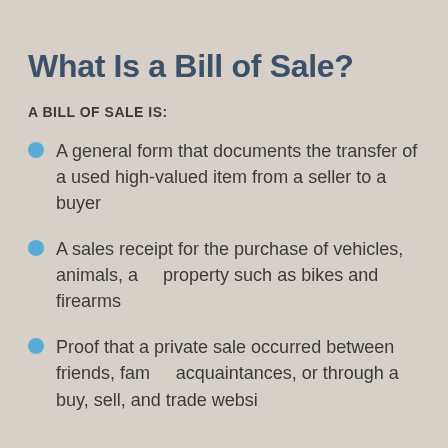What Is a Bill of Sale?
A BILL OF SALE IS:
A general form that documents the transfer of a used high-valued item from a seller to a buyer
A sales receipt for the purchase of vehicles, animals, and property such as bikes and firearms
Proof that a private sale occurred between friends, family, acquaintances, or through a buy, sell, and trade website